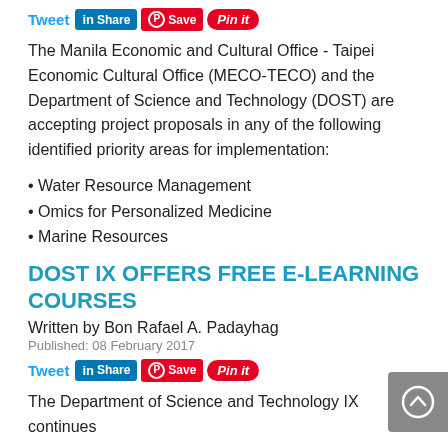[Figure (infographic): Social sharing bar with Tweet link, LinkedIn Share button, Pinterest Save button, and Pin It button]
The Manila Economic and Cultural Office - Taipei Economic Cultural Office (MECO-TECO) and the Department of Science and Technology (DOST) are accepting project proposals in any of the following identified priority areas for implementation:
Water Resource Management
Omics for Personalized Medicine
Marine Resources
DOST IX OFFERS FREE E-LEARNING COURSES
Written by Bon Rafael A. Padayhag
Published: 08 February 2017
[Figure (infographic): Social sharing bar with Tweet link, LinkedIn Share button, Pinterest Save button, and Pin It button]
The Department of Science and Technology IX continues